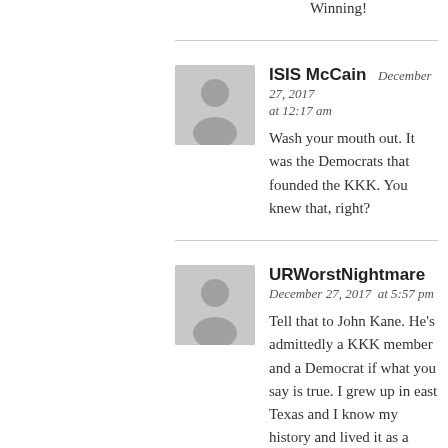Winning!
ISIS McCain  December 27, 2017 at 12:17 am
Wash your mouth out. It was the Democrats that founded the KKK. You knew that, right?
URWorstNightmare
December 27, 2017  at 5:57 pm
Tell that to John Kane. He's admittedly a KKK member and a Democrat if what you say is true. I grew up in east Texas and I know my history and lived it as a child and I saw many democrats that were in the KKK. However, times have changed